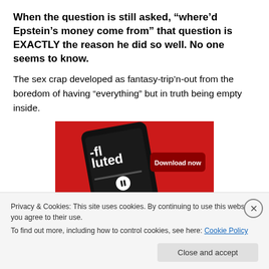When the question is still asked, “where’d Epstein’s money come from” that question is EXACTLY the reason he did so well. No one seems to know.
The sex crap developed as fantasy-trip’n-out from the boredom of having “everything” but in truth being empty inside.
[Figure (screenshot): Advertisement showing a smartphone with a podcast app on a red background, with a 'Download now' button]
Privacy & Cookies: This site uses cookies. By continuing to use this website, you agree to their use.
To find out more, including how to control cookies, see here: Cookie Policy